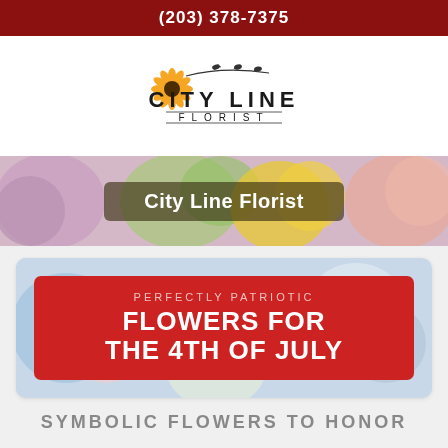(203) 378-7375
[Figure (logo): City Line Florist logo with sunflower and decorative branch, text CITY LINE FLORIST]
[Figure (photo): Colorful floral arrangement banner with overlay text City Line Florist]
[Figure (infographic): Promotional banner: PERFECTLY PATRIOTIC FLOWERS FOR THE 4TH OF JULY on red background over floral photo]
SYMBOLIC FLOWERS TO HONOR